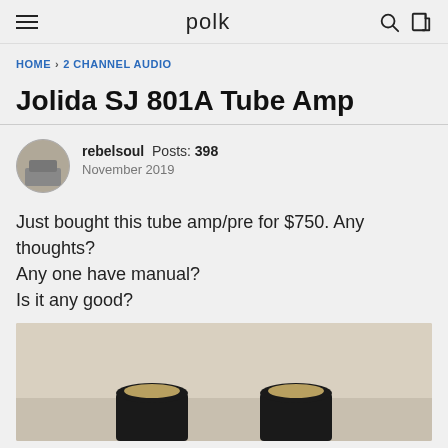polk
HOME › 2 CHANNEL AUDIO
Jolida SJ 801A Tube Amp
rebelsoul  Posts: 398  November 2019
Just bought this tube amp/pre for $750. Any thoughts?
Any one have manual?
Is it any good?
[Figure (photo): Photo of tube amplifier showing two cylindrical black tube caps with gold tops on a beige/tan surface]